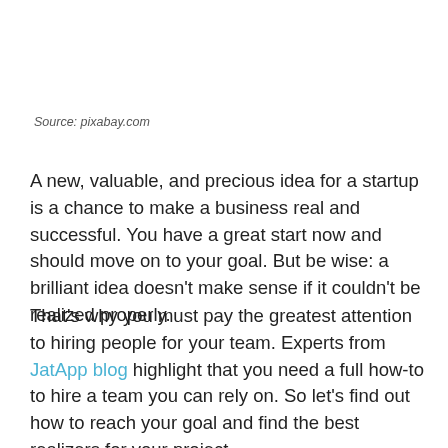Source: pixabay.com
A new, valuable, and precious idea for a startup is a chance to make a business real and successful. You have a great start now and should move on to your goal. But be wise: a brilliant idea doesn't make sense if it couldn't be realized properly.
That's why you must pay the greatest attention to hiring people for your team. Experts from JatApp blog highlight that you need a full how-to to hire a team you can rely on. So let's find out how to reach your goal and find the best realizers for your project.